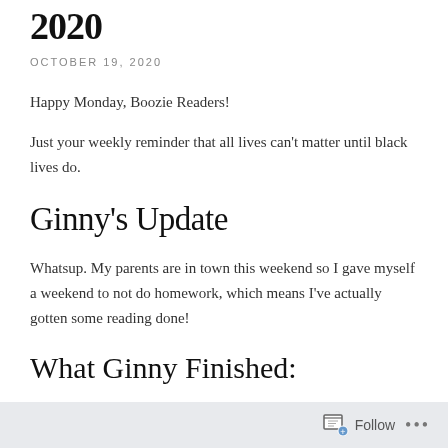2020
OCTOBER 19, 2020
Happy Monday, Boozie Readers!
Just your weekly reminder that all lives can't matter until black lives do.
Ginny's Update
Whatsup. My parents are in town this weekend so I gave myself a weekend to not do homework, which means I've actually gotten some reading done!
What Ginny Finished:
Follow